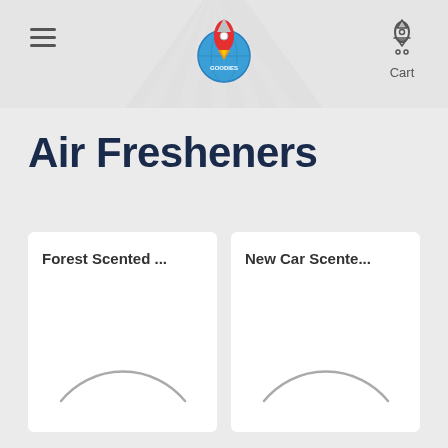Navigation header with hamburger menu, logo, and cart icon
Air Fresheners
[Figure (illustration): Product card: Forest Scented ... with semicircle arc image placeholder]
[Figure (illustration): Product card: New Car Scente... with semicircle arc image placeholder]